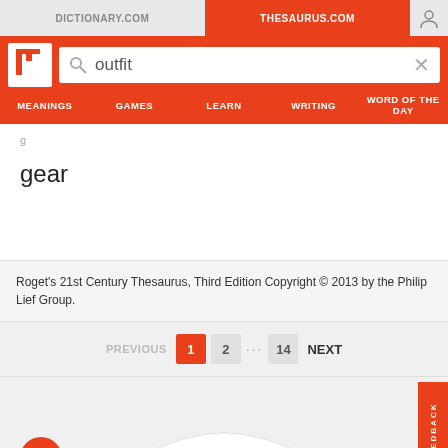DICTIONARY.COM | THESAURUS.COM
gear
Roget's 21st Century Thesaurus, Third Edition Copyright © 2013 by the Philip Lief Group.
PREVIOUS 1 2 ... 14 NEXT